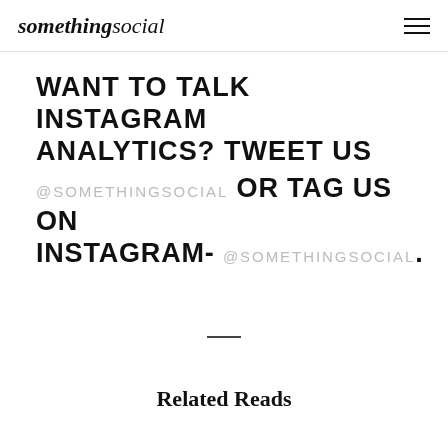somethingsocial
WANT TO TALK INSTAGRAM ANALYTICS? TWEET US @SOMETHINGSOCIAL OR TAG US ON INSTAGRAM- @SOMETHINGSOCIAL.
Related Reads